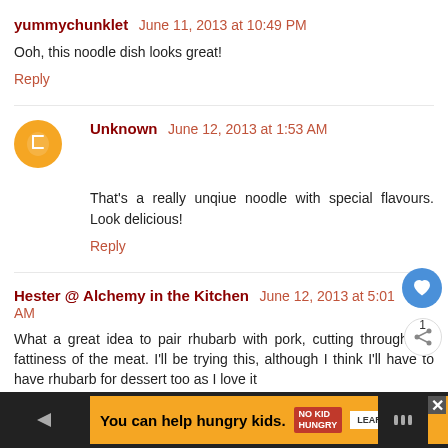yummychunklet June 11, 2013 at 10:49 PM
Ooh, this noodle dish looks great!
Reply
Unknown June 12, 2013 at 1:53 AM
That's a really unqiue noodle with special flavours. Look delicious!
Reply
Hester @ Alchemy in the Kitchen June 12, 2013 at 5:01 AM
What a great idea to pair rhubarb with pork, cutting through the fattiness of the meat. I'll be trying this, although I think I'll have to have rhubarb for dessert too as I love it
You can help hungry kids. NO KID HUNGRY LEARN HOW